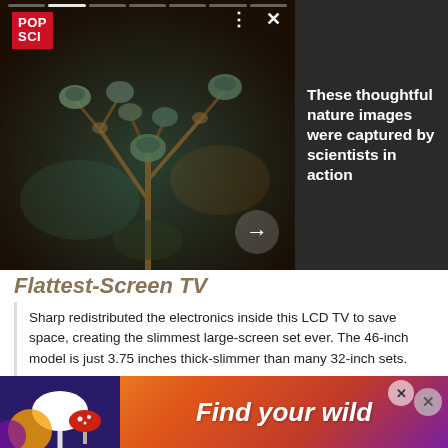[Figure (photo): Close-up macro photograph of fungi/mushrooms with dark brown/teal background, PopSci branded content card overlay with progress indicators, icons, and navigation arrow]
These thoughtful nature images were captured by scientists in action
Flattest-Screen TV
Sharp redistributed the electronics inside this LCD TV to save space, creating the slimmest large-screen set ever. The 46-inch model is just 3.75 inches thick-slimmer than many 32-inch sets. Sharp Aquos D64U 46-inch $2,700; sharpusa.com
[Figure (photo): White Canon camera product photo on light background]
[Figure (photo): Advertisement banner with colorful gradient background, mushroom photo on left, text 'Find your wild' in white italic bold font]